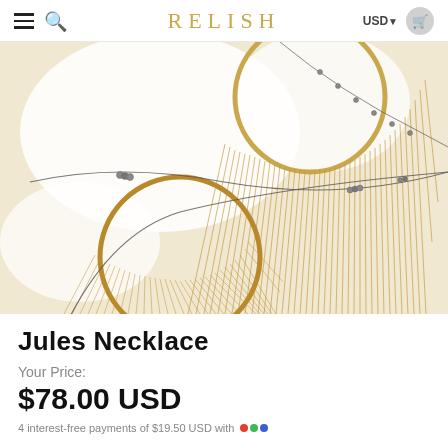≡  🔍  RELISH  USD  🛒
[Figure (photo): Close-up product photo of the Jules Necklace showing a gold fringe/tassel hoop necklace with a delicate beaded chain, photographed on a white background.]
Jules  Necklace
Your  Price:
$78.00 USD
4 interest-free payments of $19.50 USD with sezzle